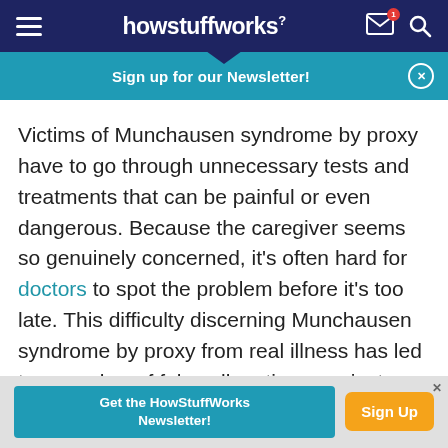howstuffworks
Sign up for our Newsletter!
Victims of Munchausen syndrome by proxy have to go through unnecessary tests and treatments that can be painful or even dangerous. Because the caregiver seems so genuinely concerned, it's often hard for doctors to spot the problem before it's too late. This difficulty discerning Munchausen syndrome by proxy from real illness has led to a number of false allegations against parents.
Get the HowStuffWorks Newsletter!